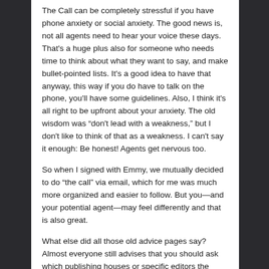The Call can be completely stressful if you have phone anxiety or social anxiety. The good news is, not all agents need to hear your voice these days. That's a huge plus also for someone who needs time to think about what they want to say, and make bullet-pointed lists. It's a good idea to have that anyway, this way if you do have to talk on the phone, you'll have some guidelines. Also, I think it's all right to be upfront about your anxiety. The old wisdom was “don't lead with a weakness,” but I don't like to think of that as a weakness. I can't say it enough: Be honest! Agents get nervous too.
So when I signed with Emmy, we mutually decided to do “the call” via email, which for me was much more organized and easier to follow. But you—and your potential agent—may feel differently and that is also great.
What else did all those old advice pages say? Almost everyone still advises that you should ask which publishing houses or specific editors the agent has in mind for your manuscript. It's supposed to make you sound knowledgeable and professional, but again, is that important?